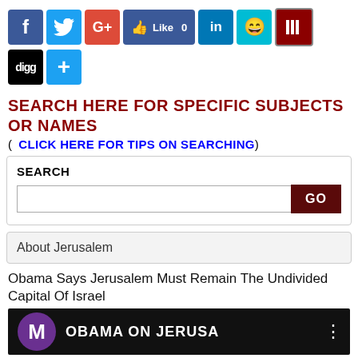[Figure (infographic): Social sharing buttons: Facebook, Twitter, Google+, Facebook Like (0), LinkedIn, Emoji/Stumble, Wattpad, Digg, Add More]
SEARCH HERE FOR SPECIFIC SUBJECTS OR NAMES
( CLICK HERE FOR TIPS ON SEARCHING )
SEARCH [input field] GO
About Jerusalem
Obama Says Jerusalem Must Remain The Undivided Capital Of Israel
[Figure (screenshot): Video thumbnail showing OBAMA ON JERUSA with purple M avatar icon on dark background]